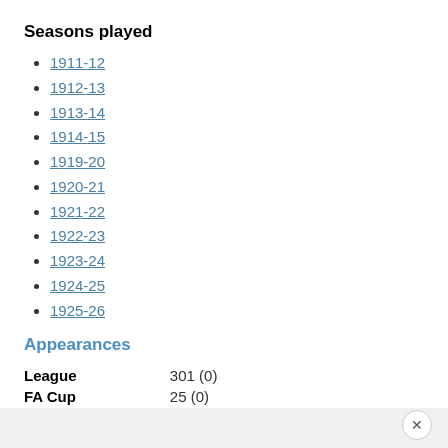Seasons played
1911-12
1912-13
1913-14
1914-15
1919-20
1920-21
1921-22
1922-23
1923-24
1924-25
1925-26
Appearances
|  |  |
| --- | --- |
| League | 301 (0) |
| FA Cup | 25 (0) |
| League Cup | 0 (0) |